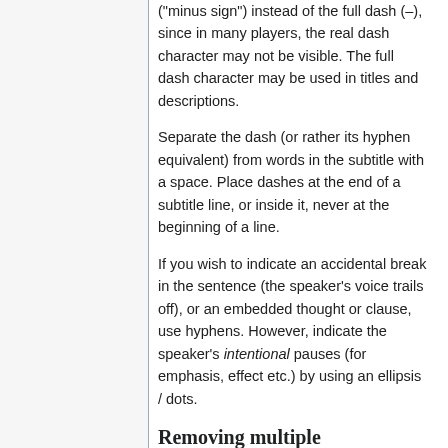("minus sign") instead of the full dash (–), since in many players, the real dash character may not be visible. The full dash character may be used in titles and descriptions.
Separate the dash (or rather its hyphen equivalent) from words in the subtitle with a space. Place dashes at the end of a subtitle line, or inside it, never at the beginning of a line.
If you wish to indicate an accidental break in the sentence (the speaker's voice trails off), or an embedded thought or clause, use hyphens. However, indicate the speaker's intentional pauses (for emphasis, effect etc.) by using an ellipsis / dots.
Removing multiple